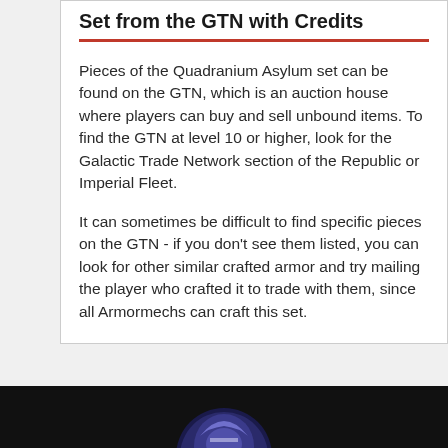Set from the GTN with Credits
Pieces of the Quadranium Asylum set can be found on the GTN, which is an auction house where players can buy and sell unbound items. To find the GTN at level 10 or higher, look for the Galactic Trade Network section of the Republic or Imperial Fleet.
It can sometimes be difficult to find specific pieces on the GTN - if you don't see them listed, you can look for other similar crafted armor and try mailing the player who crafted it to trade with them, since all Armormechs can craft this set.
[Figure (photo): Dark background section with a circular game character icon visible at the bottom of the page]